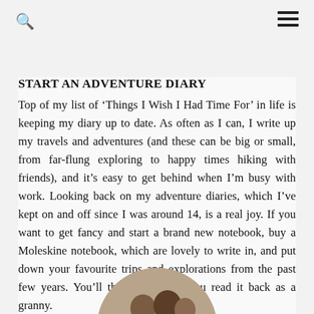[Figure (photo): Circular photo partially visible at top of page, appears to show a light-colored round object on a gray background]
START AN ADVENTURE DIARY
Top of my list of ‘Things I Wish I Had Time For’ in life is keeping my diary up to date. As often as I can, I write up my travels and adventures (and these can be big or small, from far-flung exploring to happy times hiking with friends), and it’s easy to get behind when I’m busy with work. Looking back on my adventure diaries, which I’ve kept on and off since I was around 14, is a real joy. If you want to get fancy and start a brand new notebook, buy a Moleskine notebook, which are lovely to write in, and put down your favourite trips and explorations from the past few years. You’ll thank me when you read it back as a granny.
[Figure (photo): Circular photo partially visible at bottom of page, appears to show ceramic bowls or pottery items on a table]